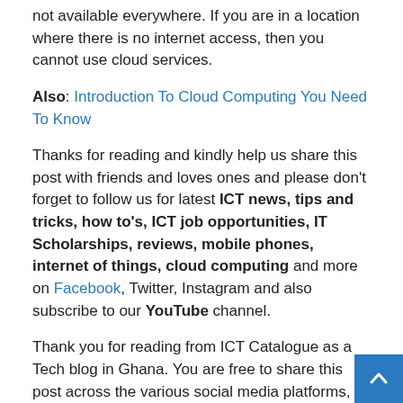not available everywhere. If you are in a location where there is no internet access, then you cannot use cloud services.
Also: Introduction To Cloud Computing You Need To Know
Thanks for reading and kindly help us share this post with friends and loves ones and please don't forget to follow us for latest ICT news, tips and tricks, how to's, ICT job opportunities, IT Scholarships, reviews, mobile phones, internet of things, cloud computing and more on Facebook, Twitter, Instagram and also subscribe to our YouTube channel.
Thank you for reading from ICT Catalogue as a Tech blog in Ghana. You are free to share this post across the various social media platforms, and also follow on: Facebook, Google News, Twitter, LinkedIn,